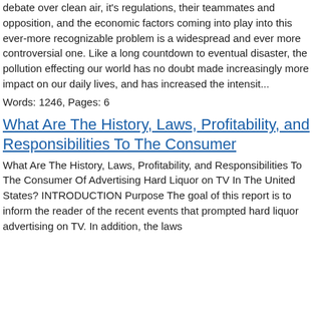debate over clean air, it's regulations, their teammates and opposition, and the economic factors coming into play into this ever-more recognizable problem is a widespread and ever more controversial one. Like a long countdown to eventual disaster, the pollution effecting our world has no doubt made increasingly more impact on our daily lives, and has increased the intensit...
Words: 1246, Pages: 6
What Are The History, Laws, Profitability, and Responsibilities To The Consumer
What Are The History, Laws, Profitability, and Responsibilities To The Consumer Of Advertising Hard Liquor on TV In The United States? INTRODUCTION Purpose The goal of this report is to inform the reader of the recent events that prompted hard liquor advertising on TV. In addition, the laws